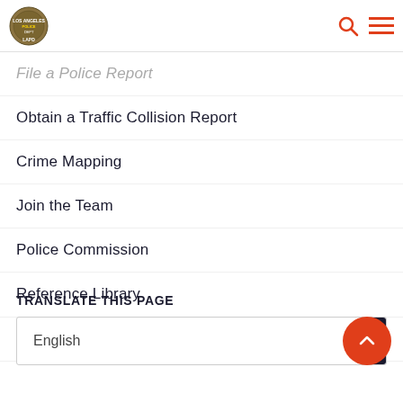LAPD logo, search and menu icons
File a Police Report
Obtain a Traffic Collision Report
Crime Mapping
Join the Team
Police Commission
Reference Library
Contact Us
TRANSLATE THIS PAGE
English